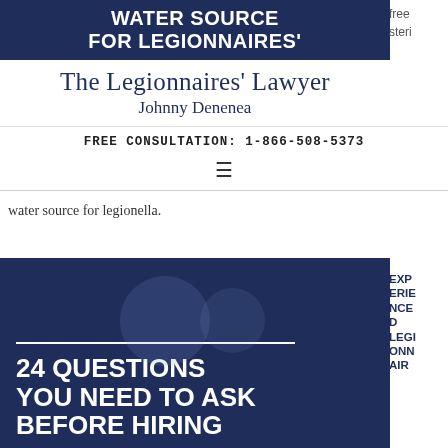[Figure (screenshot): Dark navy blue banner with white bold text reading 'WATER SOURCE FOR LEGIONNAIRES' (partially visible, top cut off)]
free steri
The Legionnaires' Lawyer
Johnny Denenea
FREE CONSULTATION: 1-866-508-5373
≡
water source for legionella.
[Figure (infographic): Dark navy blue banner graphic with white horizontal rule and bold white text reading '24 QUESTIONS YOU NEED TO ASK BEFORE HIRING']
EXPERIENCED LEGIONNAIRE AIR